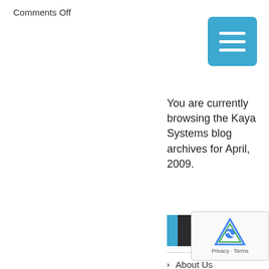Comments Off
[Figure (other): Blue rounded square menu icon with three white horizontal lines (hamburger menu)]
You are currently browsing the Kaya Systems blog archives for April, 2009.
PAGES
About Us
Active Campaign
Appra…
[Figure (other): reCAPTCHA overlay widget with Google reCAPTCHA logo and Privacy - Terms text]